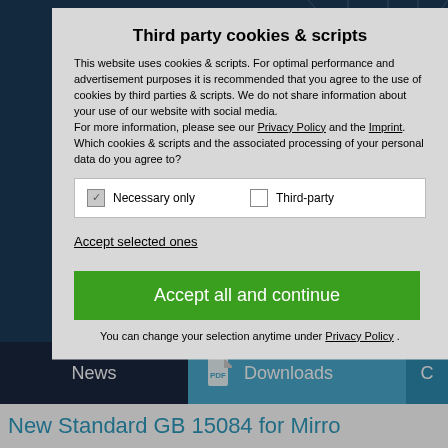Third party cookies & scripts
This website uses cookies & scripts. For optimal performance and advertisement purposes it is recommended that you agree to the use of cookies by third parties & scripts. We do not share information about your use of our website with social media.
For more information, please see our Privacy Policy and the Imprint. Which cookies & scripts and the associated processing of your personal data do you agree to?
Necessary only   Third-party
Accept selected ones
Accept all and continue
You can change your selection anytime under Privacy Policy .
News
Downloads
New Standard GB 15084 for Mirro